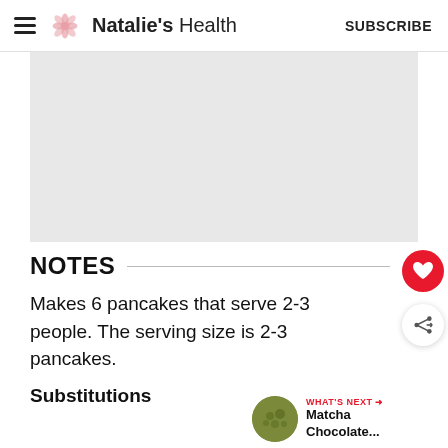Natalie's Health | SUBSCRIBE
[Figure (photo): Gray placeholder image area]
NOTES
Makes 6 pancakes that serve 2-3 people. The serving size is 2-3 pancakes.
Substitutions